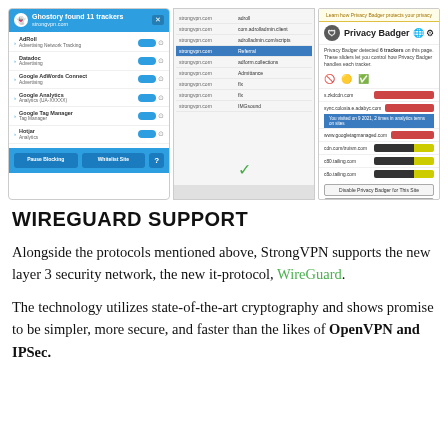[Figure (screenshot): Three browser extension screenshots side by side: Ghostery showing 11 trackers found on strongvpn.com with AdRoll, Datadoc, Google AdWords Connect, Google Analytics, Google Tag Manager, HotJar listed; a middle panel showing a list of tracker domains; and Privacy Badger showing 6 trackers detected with colored bars for each domain including options to disable.]
WIREGUARD SUPPORT
Alongside the protocols mentioned above, StrongVPN supports the new layer 3 security network, the new it-protocol, WireGuard.
The technology utilizes state-of-the-art cryptography and shows promise to be simpler, more secure, and faster than the likes of OpenVPN and IPSec.